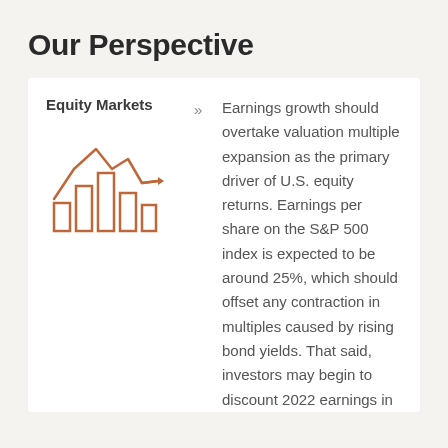Our Perspective
Equity Markets
[Figure (illustration): Orange line chart icon showing mountain-shaped trend lines with bar chart columns below, representing equity markets]
Earnings growth should overtake valuation multiple expansion as the primary driver of U.S. equity returns. Earnings per share on the S&P 500 index is expected to be around 25%, which should offset any contraction in multiples caused by rising bond yields. That said, investors may begin to discount 2022 earnings in